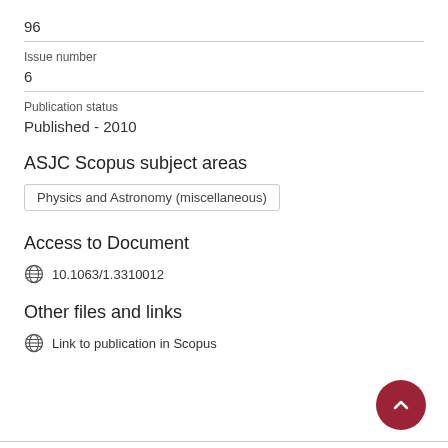96
Issue number
6
Publication status
Published - 2010
ASJC Scopus subject areas
Physics and Astronomy (miscellaneous)
Access to Document
10.1063/1.3310012
Other files and links
Link to publication in Scopus